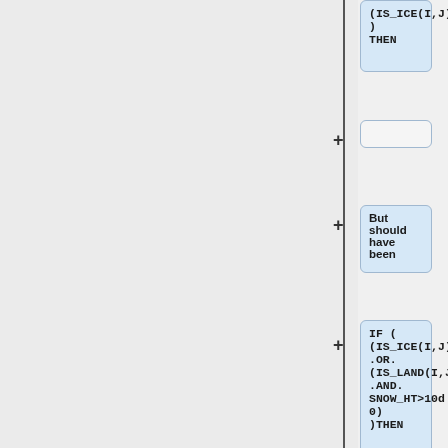[Figure (flowchart): A vertical flowchart diff showing code blocks with + markers. Top box contains '(IS_ICE(I,J)) ) THEN', followed by an empty box, a text box 'But should have been', a code box 'IF ( (IS_ICE(I,J)) .OR. (IS_LAND(I,J) .AND. SNOW_HT>10d0) )THEN', another empty box, and a text box '(2) In BIOMASSHG (land_mercury_ mod.f)', and a final empty box at the bottom.]